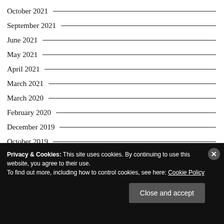October 2021
September 2021
June 2021
May 2021
April 2021
March 2021
March 2020
February 2020
December 2019
October 2019
Privacy & Cookies: This site uses cookies. By continuing to use this website, you agree to their use. To find out more, including how to control cookies, see here: Cookie Policy